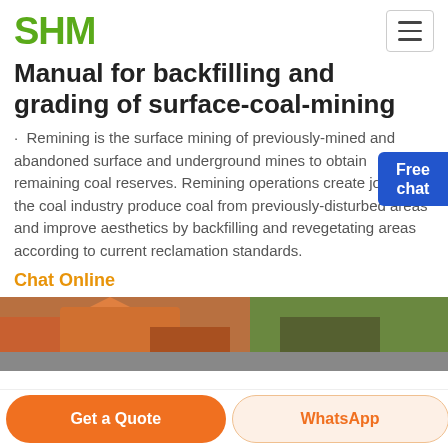SHM
Manual for backfilling and grading of surface-coal-mining
Remining is the surface mining of previously-mined and abandoned surface and underground mines to obtain remaining coal reserves. Remining operations create jobs in the coal industry produce coal from previously-disturbed areas and improve aesthetics by backfilling and revegetating areas according to current reclamation standards.
Chat Online
[Figure (photo): Photo of surface coal mining equipment and machinery at a mine site with orange/red structures and green hills in background]
Get a Quote
WhatsApp